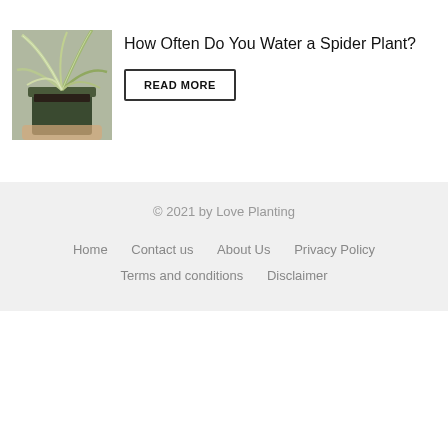[Figure (photo): Photo of a spider plant in a dark green pot, held by a hand, showing long green and white striped leaves]
How Often Do You Water a Spider Plant?
READ MORE
© 2021 by Love Planting
Home   Contact us   About Us   Privacy Policy   Terms and conditions   Disclaimer